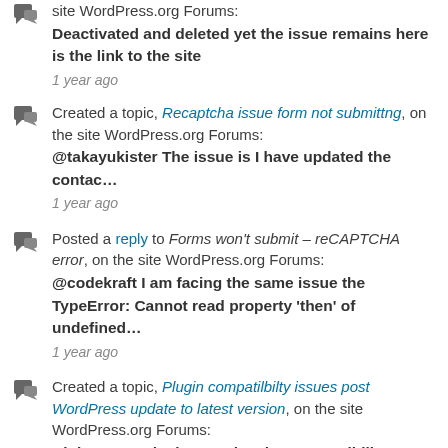site WordPress.org Forums: Deactivated and deleted yet the issue remains here is the link to the site
1 year ago
Created a topic, Recaptcha issue form not submittng, on the site WordPress.org Forums: @takayukister The issue is I have updated the contac…
1 year ago
Posted a reply to Forms won't submit – reCAPTCHA error, on the site WordPress.org Forums: @codekraft I am facing the same issue the TypeError: Cannot read property 'then' of undefined…
1 year ago
Created a topic, Plugin compatilbilty issues post WordPress update to latest version, on the site WordPress.org Forums: Hi there, My site is experiencing compatibility issue…
1 year ago
Posted a reply to reCaptcha fails since 5.4 when user is not logged in, on the site WordPress.org Forums: I am facing the same issue cannot set property